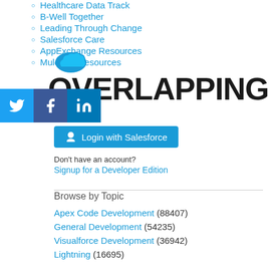Healthcare Data Track
B-Well Together
Leading Through Change
Salesforce Care
AppExchange Resources
MuleSoft Resources
[Figure (logo): Salesforce cloud logo in teal/blue]
OVERLAPPING TRIGGER
[Figure (infographic): Social media share buttons: Twitter (blue bird), Facebook (white f), LinkedIn (in logo)]
[Figure (other): Login with Salesforce button]
Don't have an account?
Signup for a Developer Edition
Browse by Topic
Apex Code Development (88407)
General Development (54235)
Visualforce Development (36942)
Lightning (16695)
APIs and Integration (16300)
Trailhead (11464)
Formulas & Validation Rules Discussion (10889)